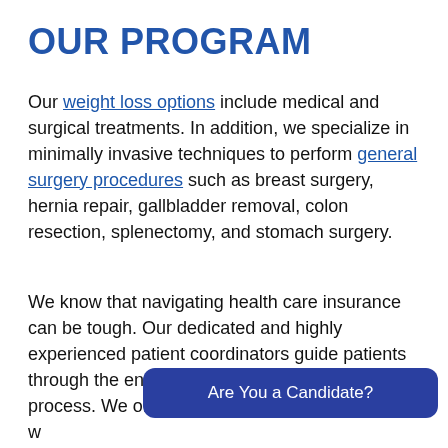OUR PROGRAM
Our weight loss options include medical and surgical treatments. In addition, we specialize in minimally invasive techniques to perform general surgery procedures such as breast surgery, hernia repair, gallbladder removal, colon resection, splenectomy, and stomach surgery.
We know that navigating health care insurance can be tough. Our dedicated and highly experienced patient coordinators guide patients through the entire insurance and payment process. We offer financing options as w[ell as more information on our] payment options page.
[Figure (other): Blue rounded button with text 'Are You a Candidate?']